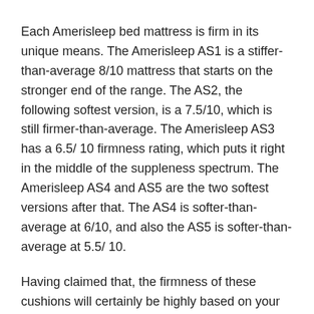Each Amerisleep bed mattress is firm in its unique means. The Amerisleep AS1 is a stiffer-than-average 8/10 mattress that starts on the stronger end of the range. The AS2, the following softest version, is a 7.5/10, which is still firmer-than-average. The Amerisleep AS3 has a 6.5/ 10 firmness rating, which puts it right in the middle of the suppleness spectrum. The Amerisleep AS4 and AS5 are the two softest versions after that. The AS4 is softer-than-average at 6/10, and also the AS5 is softer-than-average at 5.5/ 10.
Having claimed that, the firmness of these cushions will certainly be highly based on your height and also weight. On the one hand, these bed mattress may really feel firmer when you push deeper into the